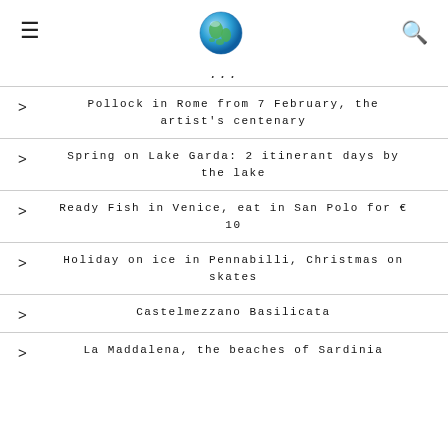[hamburger menu] [globe icon] [search icon]
...
Pollock in Rome from 7 February, the artist's centenary
Spring on Lake Garda: 2 itinerant days by the lake
Ready Fish in Venice, eat in San Polo for €10
Holiday on ice in Pennabilli, Christmas on skates
Castelmezzano Basilicata
La Maddalena, the beaches of Sardinia